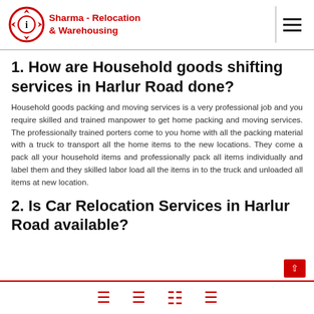Sharma - Relocation & Warehousing
1. How are Household goods shifting services in Harlur Road done?
Household goods packing and moving services is a very professional job and you require skilled and trained manpower to get home packing and moving services. The professionally trained porters come to you home with all the packing material with a truck to transport all the home items to the new locations. They come a pack all your household items and professionally pack all items individually and label them and they skilled labor load all the items in to the truck and unloaded all items at new location.
2. Is Car Relocation Services in Harlur Road available?